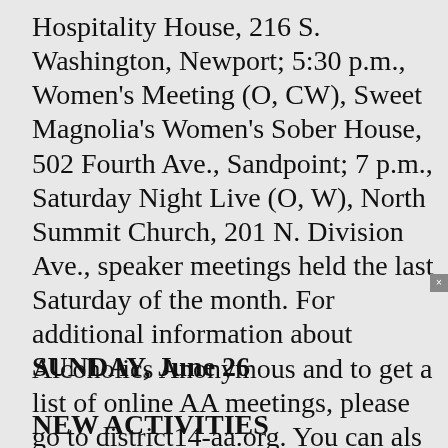Hospitality House, 216 S. Washington, Newport; 5:30 p.m., Women's Meeting (O, CW), Sweet Magnolia's Women's Sober House, 502 Fourth Ave., Sandpoint; 7 p.m., Saturday Night Live (O, W), North Summit Church, 201 N. Division Ave., speaker meetings held the last Saturday of the month. For additional information about Alcoholics Anonymous and to get a list of online AA meetings, please go to district14-aa.org. You can als Helpline at 1-800-3
[Figure (screenshot): Black video player overlay popup covering the right portion of the page, showing a partially visible circle/ring graphic (possibly a solar eclipse or loading ring) on a black background. A grey close button (x) appears in the top-right corner. A small white text label 'SONATA' or similar appears at top-left of the overlay.]
SUNDAY, June 26
NEW ACTIVITIES